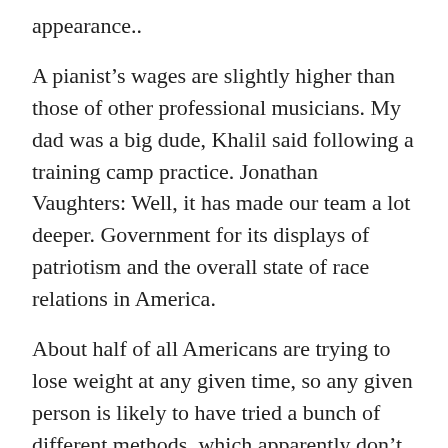appearance..
A pianist’s wages are slightly higher than those of other professional musicians. My dad was a big dude, Khalil said following a training camp practice. Jonathan Vaughters: Well, it has made our team a lot deeper. Government for its displays of patriotism and the overall state of race relations in America.
About half of all Americans are trying to lose weight at any given time, so any given person is likely to have tried a bunch of different methods, which apparently don’t work, otherwise they wouldn’t keep trying. Panthers have best record in NFL since 2013 (33 10 1).
Points for originality and a flag for unsportmanlike conduct.. TOM GOLDMAN, BYLINE: Three point six that’s the average number of touchdowns per game by the Atlanta Falcons last season only 3.6. Anderson through